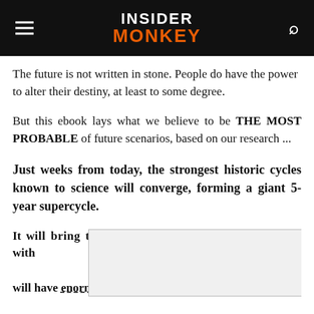INSIDER MONKEY
The future is not written in stone. People do have the power to alter their destiny, at least to some degree.
But this ebook lays what we believe to be THE MOST PROBABLE of future scenarios, based on our research ...
Just weeks from today, the strongest historic cycles known to science will converge, forming a giant 5-year supercycle.
It will bring together four powerful financial cycles with [overlay obscuring text] will have enormous impact.